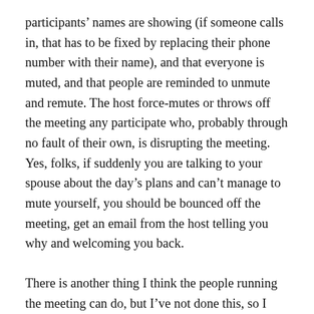participants' names are showing (if someone calls in, that has to be fixed by replacing their phone number with their name), and that everyone is muted, and that people are reminded to unmute and remute. The host force-mutes or throws off the meeting any participate who, probably through no fault of their own, is disrupting the meeting. Yes, folks, if suddenly you are talking to your spouse about the day's plans and can't manage to mute yourself, you should be bounced off the meeting, get an email from the host telling you why and welcoming you back.
There is another thing I think the people running the meeting can do, but I've not done this, so I can't advise in detail. In Zoom there is a lobby, or waiting room that you can force people to wait in before being allowed into the meeting. It is very common for people to show up at a meeting late. They should be forced to wait in the meeting room until they have been given the guidelines and norms for the meeting. Otherwise you'll have 80% of the